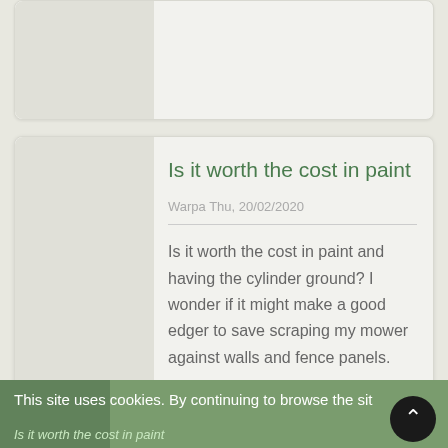[Figure (screenshot): Top partial card with left sidebar area, partially visible at top of page]
Is it worth the cost in paint
Warpa Thu, 20/02/2020
Is it worth the cost in paint and having the cylinder ground? I wonder if it might make a good edger to save scraping my mower against walls and fence panels.
This site uses cookies. By continuing to browse the sit